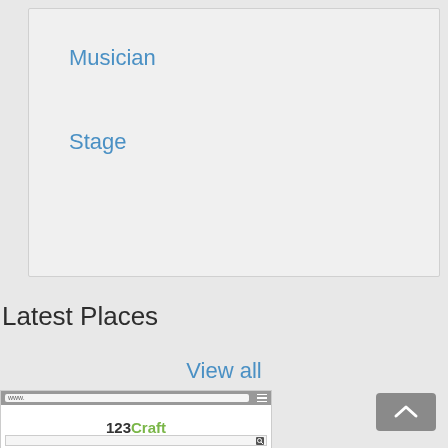Musician
Stage
Latest Places
View all
[Figure (screenshot): Screenshot of a website showing '123Craft' branding with a search bar below]
[Figure (other): Back to top button with upward arrow chevron]